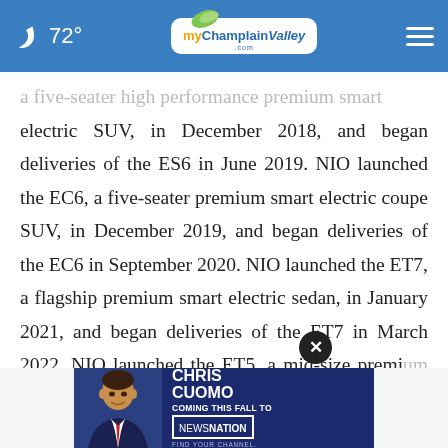72° myChamplainValley.com
a five-seater high performance premium smart electric SUV, in December 2018, and began deliveries of the ES6 in June 2019. NIO launched the EC6, a five-seater premium smart electric coupe SUV, in December 2019, and began deliveries of the EC6 in September 2020. NIO launched the ET7, a flagship premium smart electric sedan, in January 2021, and began deliveries of the ET7 in March 2022. NIO launched the ET5, a mid-size premium smart electric
[Figure (advertisement): Ad banner: Chris Cuomo Coming This Fall to NewsNation. Find Your Channel.]